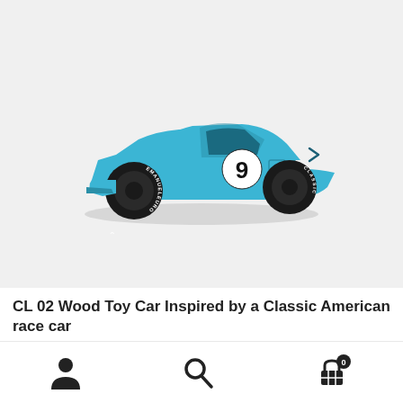[Figure (photo): A light blue wooden toy race car with black wheels, number '9' on the side in a white circle, and 'EMANUELEURO CLASSIC' printed on the tires. The car has a sleek, low-profile body inspired by a classic American race car. Photographed on a light gray/white background.]
CL 02 Wood Toy Car Inspired by a Classic American race car
€32.99